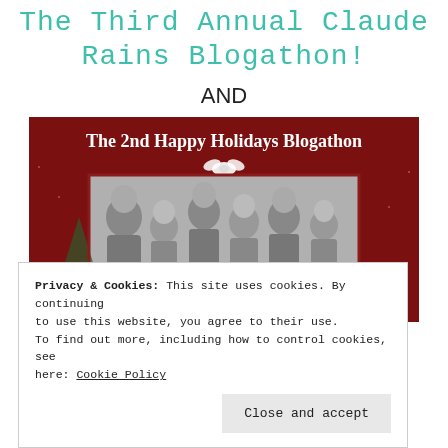The Third Annual Claude Rains Blogathon!
AND
[Figure (photo): Promotional banner image for 'The 2nd Happy Holidays Blogathon' with dark red background, white text header, a white ribbon/bow graphic, and a central black-and-white film still showing a group of people in a holiday scene.]
Privacy & Cookies: This site uses cookies. By continuing to use this website, you agree to their use.
To find out more, including how to control cookies, see here: Cookie Policy
Close and accept